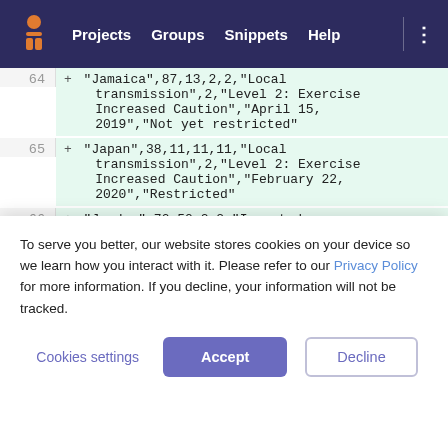Projects  Groups  Snippets  Help
64  + "Jamaica",87,13,2,2,"Local transmission",2,"Level 2: Exercise Increased Caution","April 15, 2019","Not yet restricted"
65  + "Japan",38,11,11,11,"Local transmission",2,"Level 2: Exercise Increased Caution","February 22, 2020","Restricted"
66  + "Jordan",70,50,2,2,"Imported cases only",2,"Level 2: Exercise Increased Caution","December 12, 2018","Restricted"
67  + "Kazakhstan",68,49,2,2,"Imported cases
To serve you better, our website stores cookies on your device so we learn how you interact with it. Please refer to our Privacy Policy for more information. If you decline, your information will not be tracked.
Cookies settings  Accept  Decline